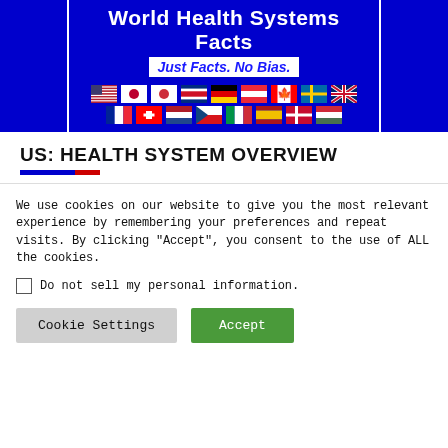[Figure (logo): World Health Systems Facts logo with blue background, title text, subtitle 'Just Facts. No Bias.' and two rows of country flags]
US: HEALTH SYSTEM OVERVIEW
We use cookies on our website to give you the most relevant experience by remembering your preferences and repeat visits. By clicking “Accept”, you consent to the use of ALL the cookies.
Do not sell my personal information.
Cookie Settings | Accept